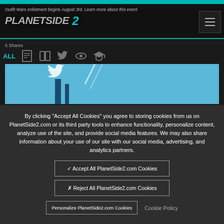Outfit Wars enlistment begins August 3rd. Learn more about this event
[Figure (logo): PlanetSide 2 logo in metallic/teal styling]
5 Shares
[Figure (screenshot): PlanetSide 2 in-game screenshot showing blue sci-fi environment with Twitter bird icon overlay]
By clicking "Accept All Cookies" you agree to storing cookies from us on PlanetSide2.com or its third party tools to enhance functionality, personalize content, analyze use of the site, and provide social media features. We may also share information about your use of our site with our social media, advertising, and analytics partners.
✓ Accept All PlanetSide2.com Cookies
✗ Reject All PlanetSide2.com Cookies
Personalize PlanetSide2.com Cookies
Cookie Policy